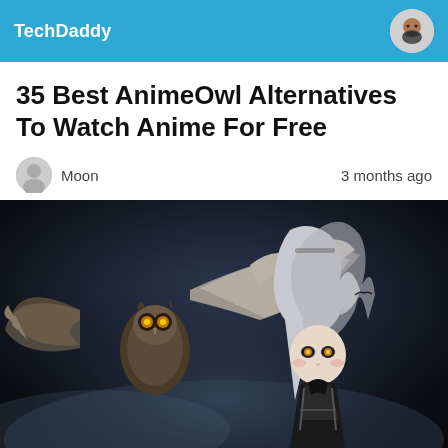TechDaddy
35 Best AnimeOwl Alternatives To Watch Anime For Free
Moon    3 months ago
[Figure (illustration): Dark fantasy anime illustration showing a girl with white/silver hair dressed in black gothic clothing standing beside a large owl with spread wings. Both have glowing yellow eyes. Dark moody background with blue-grey fog.]